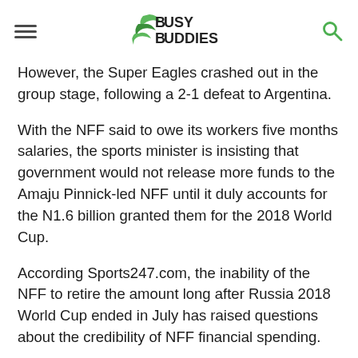BUSY BUDDIES
However, the Super Eagles crashed out in the group stage, following a 2-1 defeat to Argentina.
With the NFF said to owe its workers five months salaries, the sports minister is insisting that government would not release more funds to the Amaju Pinnick-led NFF until it duly accounts for the N1.6 billion granted them for the 2018 World Cup.
According Sports247.com, the inability of the NFF to retire the amount long after Russia 2018 World Cup ended in July has raised questions about the credibility of NFF financial spending.
The report quoted the NFF Secretary-General Dr Mohammed Sanusi, confirming that they were yet to